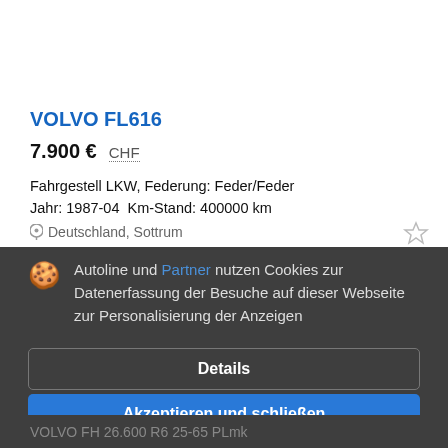[Figure (photo): Two truck images showing green Volvo FL616 trucks from rear angle]
VOLVO FL616
7.900 €  CHF
Fahrgestell LKW, Federung: Feder/Feder
Jahr: 1987-04  Km-Stand: 400000 km
Deutschland, Sottrum
Autoline und Partner nutzen Cookies zur Datenerfassung der Besuche auf dieser Webseite zur Personalisierung der Anzeigen
Details
Akzeptieren und schließen
VOLVO FH 26.600 R6 25-65 PLmk